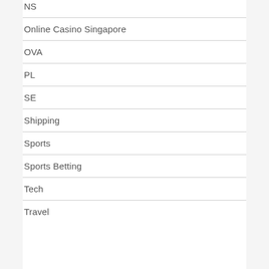NS
Online Casino Singapore
OVA
PL
SE
Shipping
Sports
Sports Betting
Tech
Travel